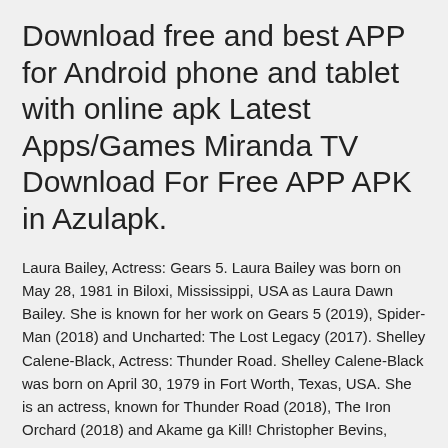Download free and best APP for Android phone and tablet with online apk Latest Apps/Games Miranda TV Download For Free APP APK in Azulapk.
Laura Bailey, Actress: Gears 5. Laura Bailey was born on May 28, 1981 in Biloxi, Mississippi, USA as Laura Dawn Bailey. She is known for her work on Gears 5 (2019), Spider-Man (2018) and Uncharted: The Lost Legacy (2017). Shelley Calene-Black, Actress: Thunder Road. Shelley Calene-Black was born on April 30, 1979 in Fort Worth, Texas, USA. She is an actress, known for Thunder Road (2018), The Iron Orchard (2018) and Akame ga Kill! Christopher Bevins, Actor: Jyu oh sei. Christopher Bevins was born on October 31, 1973 in Los Angeles, California, USA as